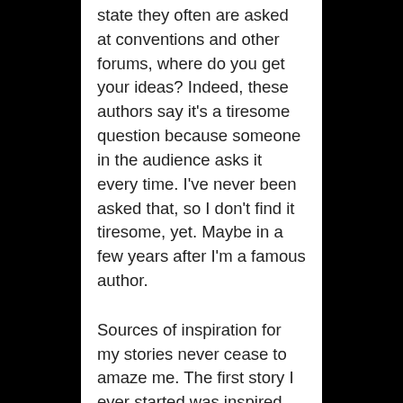state they often are asked at conventions and other forums, where do you get your ideas? Indeed, these authors say it's a tiresome question because someone in the audience asks it every time. I've never been asked that, so I don't find it tiresome, yet. Maybe in a few years after I'm a famous author.
Sources of inspiration for my stories never cease to amaze me. The first story I ever started was inspired by, what I believe is, a great first line: “The…